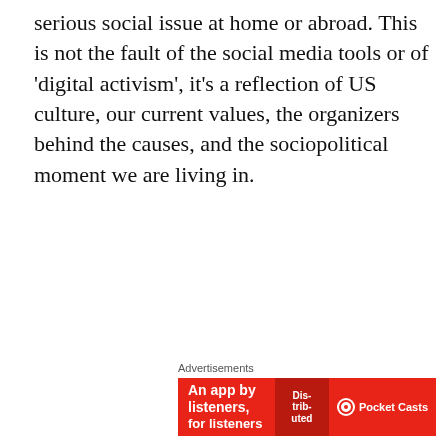serious social issue at home or abroad. This is not the fault of the social media tools or of 'digital activism', it's a reflection of US culture, our current values, the organizers behind the causes, and the sociopolitical moment we are living in.
[Figure (other): Advertisement banner for Pocket Casts app: red background with text 'An app by listeners, for listeners' and Pocket Casts logo]
3) Some of the digital media evangelists in the US and in the US media don't understand enough about grassroots
Privacy & Cookies: This site uses cookies. By continuing to use this website, you agree to their use.
To find out more, including how to control cookies, see here: Cookie Policy